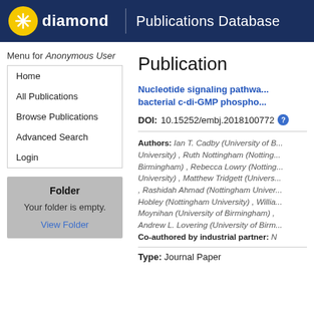diamond Publications Database
Menu for Anonymous User
Home
All Publications
Browse Publications
Advanced Search
Login
Folder
Your folder is empty.
View Folder
Publication
Nucleotide signaling pathwa... bacterial c-di-GMP phospho...
DOI: 10.15252/embj.2018100772
Authors: Ian T. Cadby (University of B... University) , Ruth Nottingham (Notting... Birmingham) , Rebecca Lowry (Notting... University) , Matthew Tridgett (Univers... , Rashidah Ahmad (Nottingham Univer... Hobley (Nottingham University) , Willia... Moynihan (University of Birmingham) , Andrew L. Lovering (University of Birm... Co-authored by industrial partner: N
Type: Journal Paper